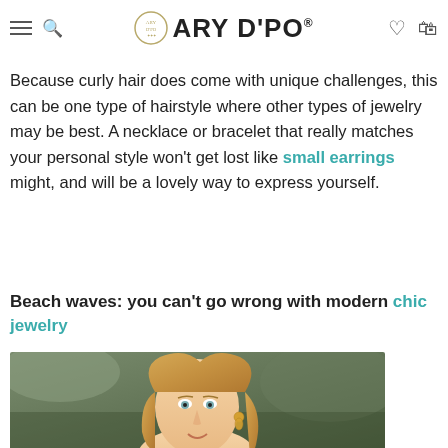Nonetheless, for a more formal or professional event, classic gold, ARY D'PO® and silver suits a lovely option.
Because curly hair does come with unique challenges, this can be one type of hairstyle where other types of jewelry may be best. A necklace or bracelet that really matches your personal style won't get lost like small earrings might, and will be a lovely way to express yourself.
Beach waves: you can't go wrong with modern chic jewelry
[Figure (photo): A blonde woman with beach waves hairstyle wearing gold earrings, photographed against a natural outdoor background.]